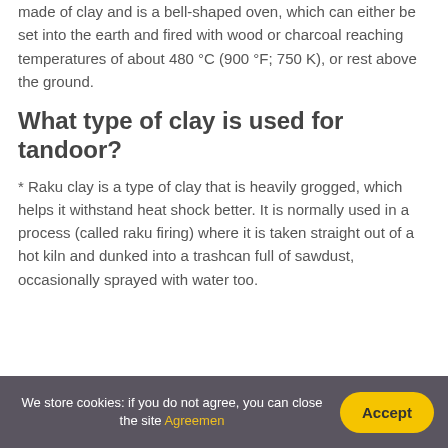made of clay and is a bell-shaped oven, which can either be set into the earth and fired with wood or charcoal reaching temperatures of about 480 °C (900 °F; 750 K), or rest above the ground.
What type of clay is used for tandoor?
* Raku clay is a type of clay that is heavily grogged, which helps it withstand heat shock better. It is normally used in a process (called raku firing) where it is taken straight out of a hot kiln and dunked into a trashcan full of sawdust, occasionally sprayed with water too.
We store cookies: if you do not agree, you can close the site Agreemen